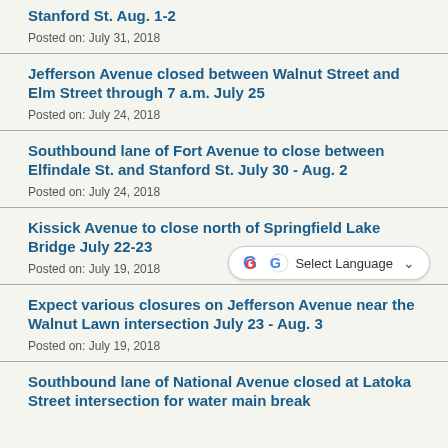Stanford St. Aug. 1-2
Posted on: July 31, 2018
Jefferson Avenue closed between Walnut Street and Elm Street through 7 a.m. July 25
Posted on: July 24, 2018
Southbound lane of Fort Avenue to close between Elfindale St. and Stanford St. July 30 - Aug. 2
Posted on: July 24, 2018
Kissick Avenue to close north of Springfield Lake Bridge July 22-23
Posted on: July 19, 2018
Expect various closures on Jefferson Avenue near the Walnut Lawn intersection July 23 - Aug. 3
Posted on: July 19, 2018
Southbound lane of National Avenue closed at Latoka Street intersection for water main break